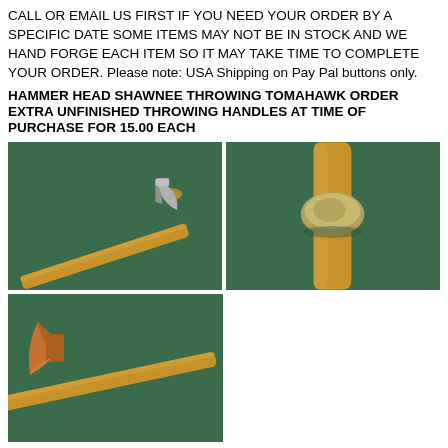CALL OR EMAIL US FIRST IF YOU NEED YOUR ORDER BY A SPECIFIC DATE SOME ITEMS MAY NOT BE IN STOCK AND WE HAND FORGE EACH ITEM SO IT MAY TAKE TIME TO COMPLETE YOUR ORDER. Please note: USA Shipping on Pay Pal buttons only.
HAMMER HEAD SHAWNEE THROWING TOMAHAWK ORDER EXTRA UNFINISHED THROWING HANDLES AT TIME OF PURCHASE FOR 15.00 EACH
[Figure (photo): Photo of a tomahawk with a wooden handle and small axe head on a green background, viewed from the side showing the full length of the handle.]
[Figure (photo): Close-up photo of the hammer head tomahawk head mounted on a wooden handle against a green background, showing the metal ball-peen hammer side.]
[Figure (photo): Photo of a tomahawk with a copper/bronze colored axe head and long wooden handle on a green background, viewed from an angle showing both the blade and handle.]